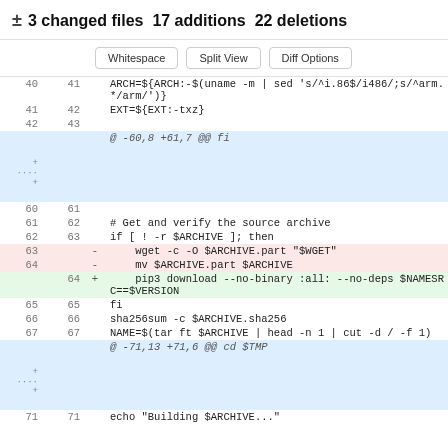± 3 changed files 17 additions 22 deletions
Whitespace  Split View  Diff Options
| old | new | sign | code |
| --- | --- | --- | --- |
| 40 | 41 |  | ARCH=${ARCH:-$(uname -m | sed 's/^i.86$/i486/;s/^arm.*/arm/')} |
| 41 | 42 |  | EXT=${EXT:-txz} |
| 42 | 43 |  |  |
|  |  |  | @ -60,8 +61,7 @@ fi |
| 60 | 61 |  |  |
| 61 | 62 |  | # Get and verify the source archive |
| 62 | 63 |  | if [ ! -r $ARCHIVE ]; then |
| 63 |  | - |     wget -c -O $ARCHIVE.part "$WGET" |
| 64 |  | - |     mv $ARCHIVE.part $ARCHIVE |
|  | 64 | + |     pip3 download --no-binary :all: --no-deps $NAMESRC==$VERSION |
| 65 | 65 |  | fi |
| 66 | 66 |  | sha256sum -c $ARCHIVE.sha256 |
| 67 | 67 |  | NAME=$(tar ft $ARCHIVE | head -n 1 | cut -d / -f 1) |
|  |  |  | @ -71,13 +71,6 @@ cd $TMP |
| 71 | 71 |  | echo "Building $ARCHIVE..." |